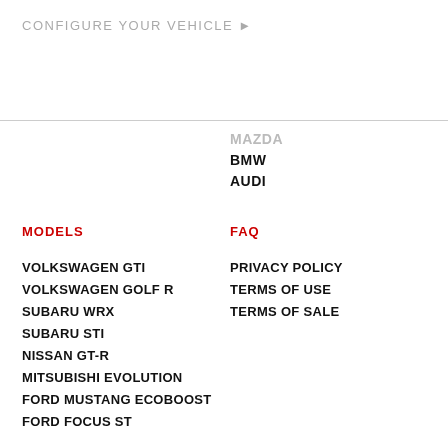CONFIGURE YOUR VEHICLE ▶
MAZDA
BMW
AUDI
MODELS
FAQ
VOLKSWAGEN GTI
PRIVACY POLICY
VOLKSWAGEN GOLF R
TERMS OF USE
SUBARU WRX
TERMS OF SALE
SUBARU STI
NISSAN GT-R
MITSUBISHI EVOLUTION
FORD MUSTANG ECOBOOST
FORD FOCUS ST
FORD FIESTA ST
FORD F-150
BMW 335
BMW 135
SUPPORT
CONTACT
[Figure (logo): COBB logo in italic bold font]